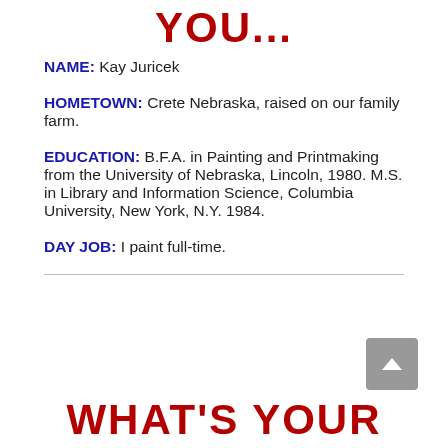YOU...
NAME: Kay Juricek
HOMETOWN: Crete Nebraska, raised on our family farm.
EDUCATION: B.F.A. in Painting and Printmaking from the University of Nebraska, Lincoln, 1980. M.S. in Library and Information Science, Columbia University, New York, N.Y. 1984.
DAY JOB: I paint full-time.
WHAT'S YOUR